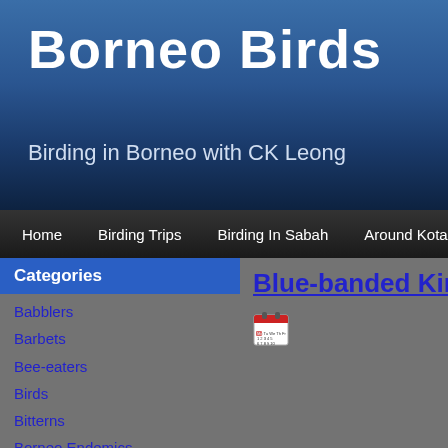Borneo Birds
Birding in Borneo with CK Leong
Home | Birding Trips | Birding In Sabah | Around Kota Kinabalu | E…
Categories
Babblers
Barbets
Bee-eaters
Birds
Bitterns
Borneo Endemics
Broadbills
Bulbuls
Buntings
Cuckoos
Cuckooshrikes
Curlews
Drongos
Ducks
Fantails
Blue-banded Kingfisher f…
[Figure (other): Calendar icon emoji/image]